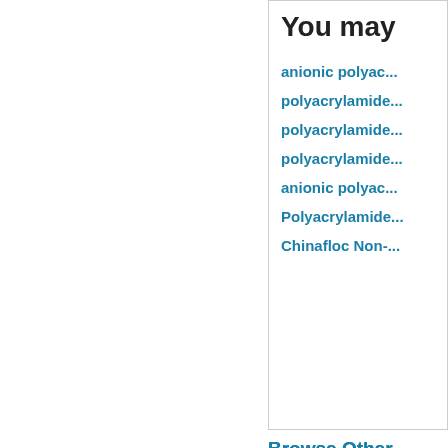You may
anionic polyac...
polyacrylamide...
polyacrylamide...
polyacrylamide...
anionic polyac...
Polyacrylamide...
Chinafloc Non-...
Browse Other
[Figure (photo): Product image showing industrial/chemical product with orange brand text at bottom and white triangular shape, dark background]